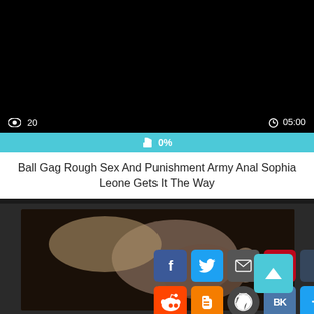[Figure (screenshot): Black video player area]
20  05:00
0%
Ball Gag Rough Sex And Punishment Army Anal Sophia Leone Gets It The Way
[Figure (photo): Video thumbnail showing person]
[Figure (infographic): Social share buttons: Facebook, Twitter, Email, Pinterest, Tumblr, Reddit, Blogger, WordPress, VK, More; and scroll-to-top button]